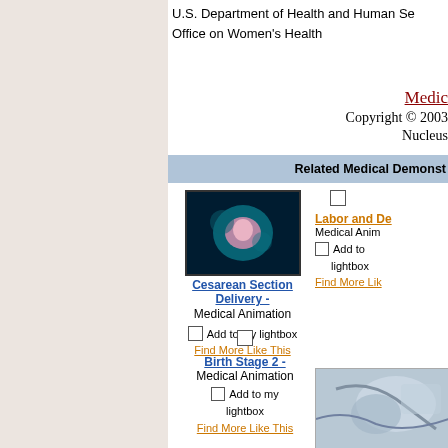U.S. Department of Health and Human Services
Office on Women's Health
Medic
Copyright © 2003 Nucleus
Related Medical Demonstr
[Figure (photo): Medical animation thumbnail showing cesarean section fetal position in womb]
Cesarean Section Delivery -
Medical Animation
Add to my lightbox
Find More Like This
Labor and De...
Medical Animation
Add to my lightbox
Find More Like This
Birth Stage 2 -
Medical Animation
Add to my lightbox
Find More Like This
[Figure (photo): Medical animation thumbnail showing episiotomy procedure]
Episiotom...
Medical Animation
Add to my lightbox